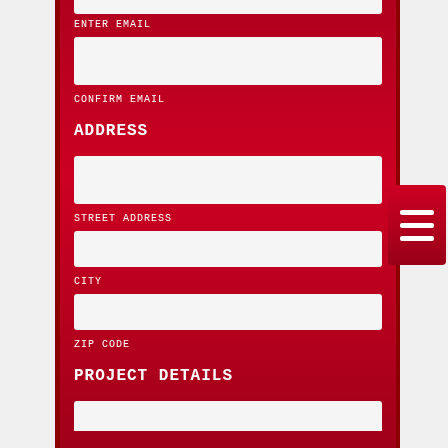ENTER EMAIL
CONFIRM EMAIL
ADDRESS
STREET ADDRESS
CITY
ZIP CODE
PROJECT DETAILS